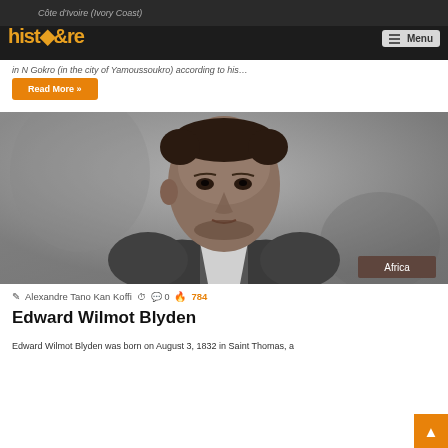Côte d'Ivoire (Ivory Coast) — histoore — Menu
in N Gokro (in the city of Yamoussoukro) according to his…
Read More »
[Figure (photo): Black and white portrait photograph of Edward Wilmot Blyden, a young man in 19th century attire with suit and bow tie. Tagged 'Africa' in lower right corner.]
Alexandre Tano Kan Koffi  0  784
Edward Wilmot Blyden
Edward Wilmot Blyden was born on August 3, 1832 in Saint Thomas, a